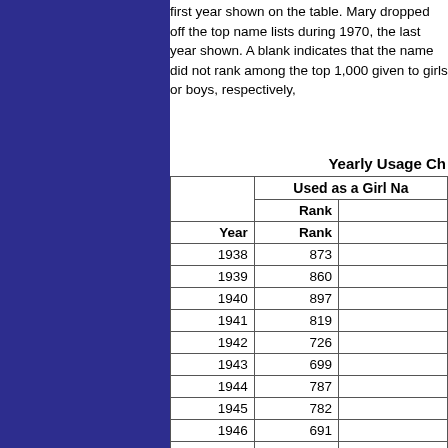first year shown on the table. Mary dropped off the top name lists during 1970, the last year shown. A blank indicates that the name did not rank among the top 1,000 given to girls or boys, respectively,
Yearly Usage Ch...
| Year | Rank |  |
| --- | --- | --- |
| 1938 | 873 |  |
| 1939 | 860 |  |
| 1940 | 897 |  |
| 1941 | 819 |  |
| 1942 | 726 |  |
| 1943 | 699 |  |
| 1944 | 787 |  |
| 1945 | 782 |  |
| 1946 | 691 |  |
| 1947 | 754 |  |